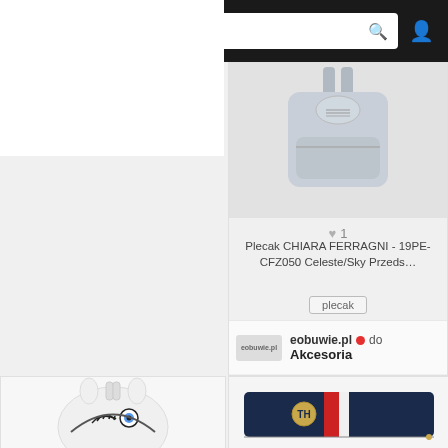[Figure (screenshot): Mobile app navigation bar with logo S, hamburger menu, search box labeled 'Szukaj', search icon, and user profile icon on dark background]
[Figure (photo): Gray leather Chiara Ferragni backpack product image]
♥ 1
Plecak CHIARA FERRAGNI - 19PE-CFZ050 Celeste/Sky Przeds…
plecak
eobuwie.pl • do Akcesoria
[Figure (photo): White Chiara Ferragni backpack with winking eye face design]
[Figure (photo): Navy blue Tommy Hilfiger wallet with red and white stripe and gold logo]